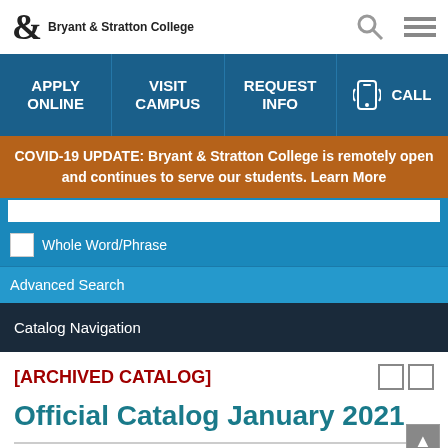Bryant & Stratton College
APPLY ONLINE | VISIT CAMPUS | REQUEST INFO | CALL
COVID-19 UPDATE: Bryant & Stratton College is remotely open and continues to serve our students. Learn More
Whole Word/Phrase
Advanced Search
Catalog Navigation
[ARCHIVED CATALOG]
Official Catalog January 2021